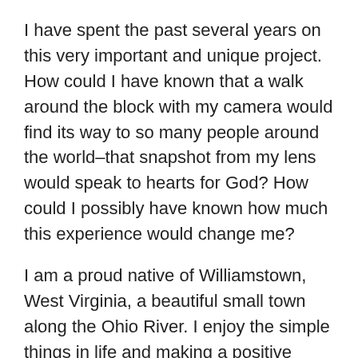I have spent the past several years on this very important and unique project. How could I have known that a walk around the block with my camera would find its way to so many people around the world–that snapshot from my lens would speak to hearts for God? How could I possibly have known how much this experience would change me?
I am a proud native of Williamstown, West Virginia, a beautiful small town along the Ohio River. I enjoy the simple things in life and making a positive difference to those along my path.God is continuing to show us his will in 2021.I currently reside near Columbia,South Carolina, USA. Yes We Believe! Follow my Amazon Authors Page, (updated daily) https://www.amazon.com/Matthew-Seufer/e/B00QTW41KS
Email - windowsfromheaven1@gmail.com